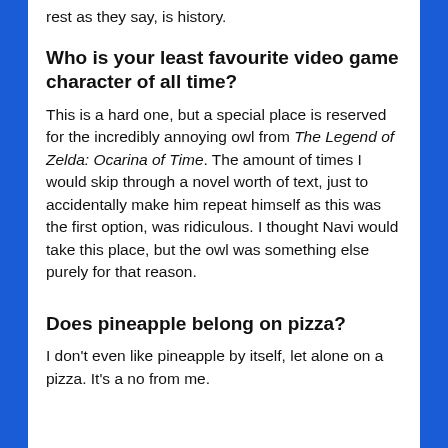rest as they say, is history.
Who is your least favourite video game character of all time?
This is a hard one, but a special place is reserved for the incredibly annoying owl from The Legend of Zelda: Ocarina of Time. The amount of times I would skip through a novel worth of text, just to accidentally make him repeat himself as this was the first option, was ridiculous. I thought Navi would take this place, but the owl was something else purely for that reason.
Does pineapple belong on pizza?
I don't even like pineapple by itself, let alone on a pizza. It's a no from me.